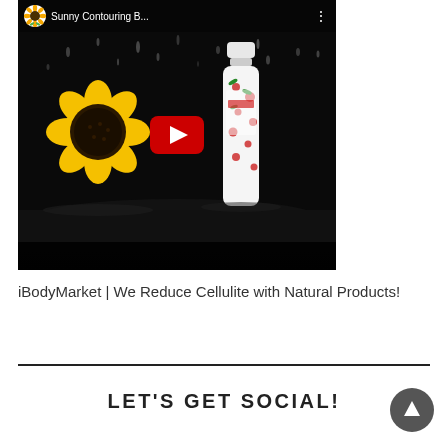[Figure (screenshot): YouTube video thumbnail showing a sunflower plush toy on the left and a decorative product bottle on the right, with a red YouTube play button overlay in the center. Top bar shows YouTube icon and title 'Sunny Contouring B...' with three-dot menu.]
iBodyMarket | We Reduce Cellulite with Natural Products!
LET'S GET SOCIAL!